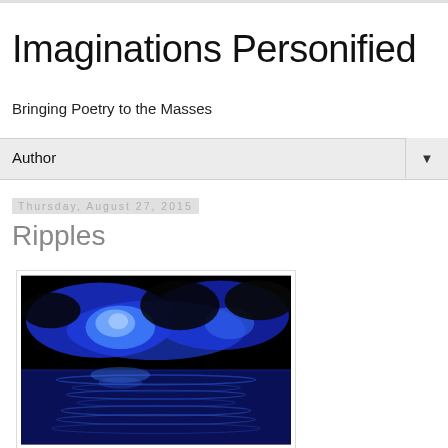Imaginations Personified
Bringing Poetry to the Masses
Author
Thursday, August 27, 2015
Ripples
[Figure (photo): A dark blue glowing water ripple image with reflections, predominantly deep blue and black colors, showing a water surface with light reflections]